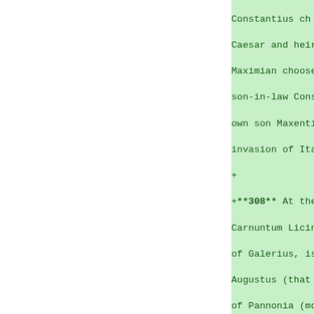Constantius ch Caesar and heir Maximian choose son-in-law Cons own son Maxenti invasion of Ita
+
+**308** At the Carnuntum Licin of Galerius, is Augustus (that of Pannonia (mo of the Danube, and Croatia) wi lands currently Maxentius (Ital
+
+**310** Besiege Marseille by hi Constantine, Ma himself. Maximi